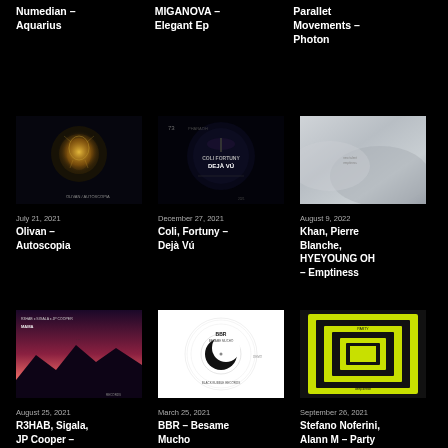Numedian – Aquarius
MIGANOVA – Elegant Ep
Parallet Movements – Photon
[Figure (photo): Album art for Olivan – Autoscopia: dark background with glowing orb]
July 21, 2021
Olivan – Autoscopia
[Figure (photo): Album art for Coli, Fortuny – Dejà Vú: dark circular design with text]
December 27, 2021
Coli, Fortuny – Dejà Vú
[Figure (photo): Album art for Khan, Pierre Blanche, HYEYOUNG OH – Emptiness: grey gradient]
August 9, 2022
Khan, Pierre Blanche, HYEYOUNG OH – Emptiness
[Figure (photo): Album art for R3HAB, Sigala, JP Cooper: purple/pink mountain landscape at dusk]
August 25, 2021
R3HAB, Sigala, JP Cooper –
[Figure (photo): Album art for BBR – Besame Mucho: white background with black disc/circle logo]
March 25, 2021
BBR – Besame Mucho
[Figure (photo): Album art for Stefano Noferini, Alann M – Party: neon yellow/green concentric circles on black]
September 26, 2021
Stefano Noferini, Alann M – Party